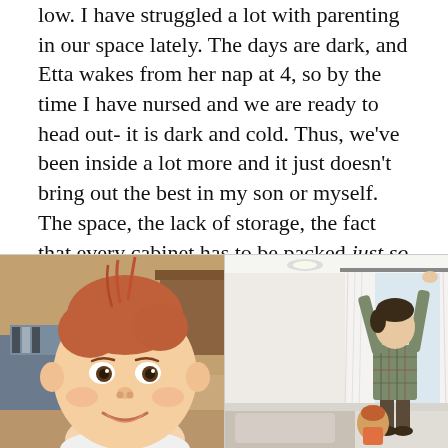low. I have struggled a lot with parenting in our space lately. The days are dark, and Etta wakes from her nap at 4, so by the time I have nursed and we are ready to head out- it is dark and cold. Thus, we've been inside a lot more and it just doesn't bring out the best in my son or myself. The space, the lack of storage, the fact that every cabinet has to be packed just so due to space or things fall on me and they never are so things are always falling, the feeling that Christmas will bring more things to suffocate me — there have been some days of parenting from a place of space-focused frustration and I hate that.
[Figure (photo): Left photo: Close-up of a smiling baby with red/auburn hair, looking at camera, warm indoor background with furniture visible.]
[Figure (photo): Right photo: Person standing on a bed or elevated surface, reaching up toward curtain rod on a window with white curtains, bright white room, small child visible at their feet.]